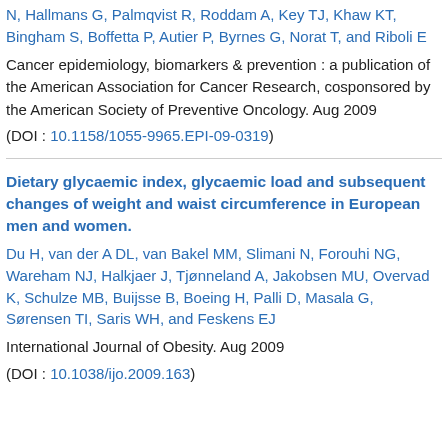N, Hallmans G, Palmqvist R, Roddam A, Key TJ, Khaw KT, Bingham S, Boffetta P, Autier P, Byrnes G, Norat T, and Riboli E
Cancer epidemiology, biomarkers & prevention : a publication of the American Association for Cancer Research, cosponsored by the American Society of Preventive Oncology. Aug 2009
(DOI : 10.1158/1055-9965.EPI-09-0319)
Dietary glycaemic index, glycaemic load and subsequent changes of weight and waist circumference in European men and women.
Du H, van der A DL, van Bakel MM, Slimani N, Forouhi NG, Wareham NJ, Halkjaer J, Tjønneland A, Jakobsen MU, Overvad K, Schulze MB, Buijsse B, Boeing H, Palli D, Masala G, Sørensen TI, Saris WH, and Feskens EJ
International Journal of Obesity. Aug 2009
(DOI : 10.1038/ijo.2009.163)